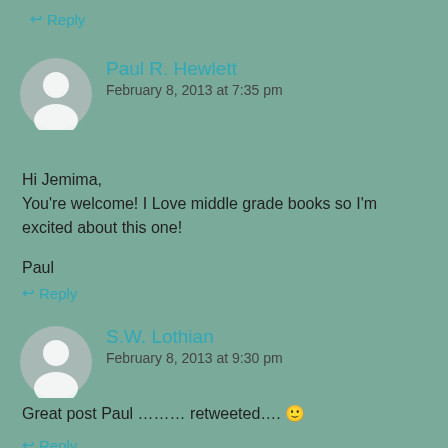↩ Reply
Paul R. Hewlett
February 8, 2013 at 7:35 pm
Hi Jemima,
You're welcome! I Love middle grade books so I'm excited about this one!

Paul
↩ Reply
S.W. Lothian
February 8, 2013 at 9:30 pm
Great post Paul ……… retweeted…. 🙂
↩ Reply